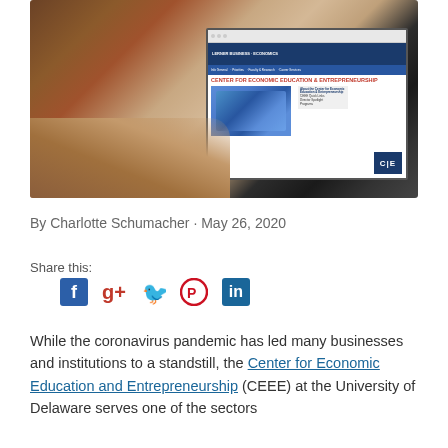[Figure (photo): Person using a laptop showing the Center for Economic Education and Entrepreneurship website at the University of Delaware]
By Charlotte Schumacher · May 26, 2020
Share this:
While the coronavirus pandemic has led many businesses and institutions to a standstill, the Center for Economic Education and Entrepreneurship (CEEE) at the University of Delaware serves one of the sectors